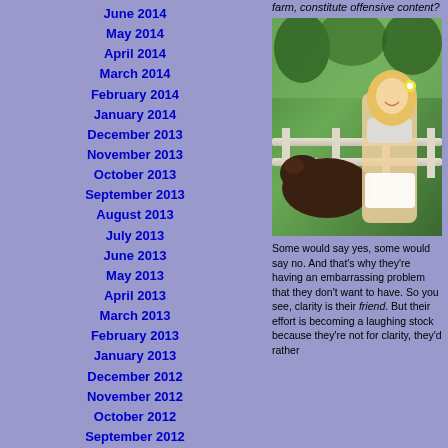June 2014
May 2014
April 2014
March 2014
February 2014
January 2014
December 2013
November 2013
October 2013
September 2013
August 2013
July 2013
June 2013
May 2013
April 2013
March 2013
February 2013
January 2013
December 2012
November 2012
October 2012
September 2012
August 2012
July 2012
June 2012
farm, constitute offensive content?
[Figure (photo): A smiling blonde woman in a bikini top and shorts with a flower in her hair, standing near a cow by a white fence in a farm/outdoor setting.]
Some would say yes, some would say no. And that’s why they’re having an embarrassing problem that they don’t want to have. So you see, clarity is their friend. But their effort is becoming a laughing stock because they’re not for clarity, they’d rather